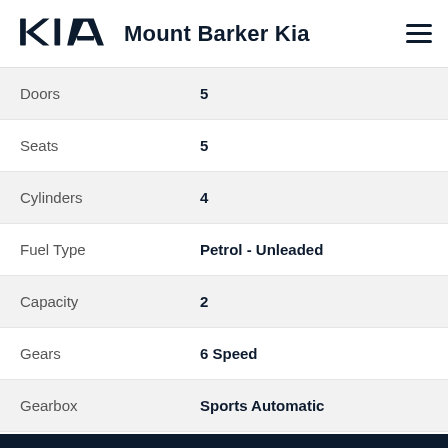Mount Barker Kia
| Attribute | Value |
| --- | --- |
| Doors | 5 |
| Seats | 5 |
| Cylinders | 4 |
| Fuel Type | Petrol - Unleaded |
| Capacity | 2 |
| Gears | 6 Speed |
| Gearbox | Sports Automatic |
CONTACT US
FINANCE THIS VEHICLE